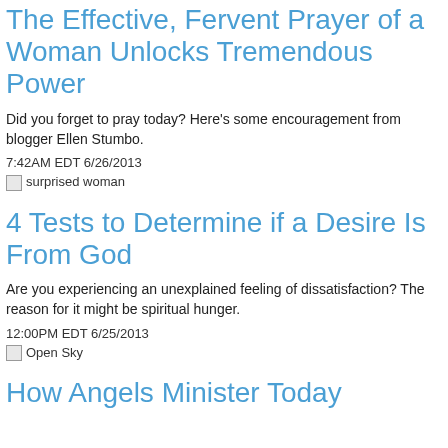The Effective, Fervent Prayer of a Woman Unlocks Tremendous Power
Did you forget to pray today? Here's some encouragement from blogger Ellen Stumbo.
7:42AM EDT 6/26/2013
[Figure (photo): surprised woman]
4 Tests to Determine if a Desire Is From God
Are you experiencing an unexplained feeling of dissatisfaction? The reason for it might be spiritual hunger.
12:00PM EDT 6/25/2013
[Figure (photo): Open Sky]
How Angels Minister Today